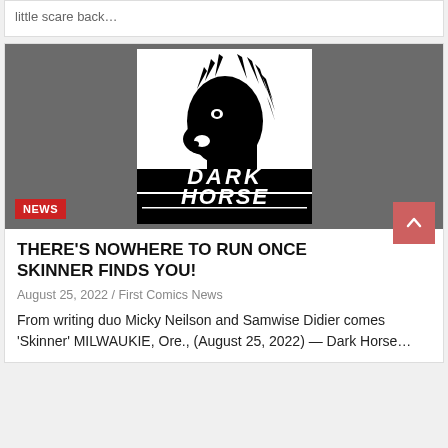little scare back…
[Figure (logo): Dark Horse Comics logo: black silhouette of a horse head on white background with 'DARK HORSE COMICS' text in black and white, on dark grey background. NEWS badge in red at bottom left.]
THERE'S NOWHERE TO RUN ONCE SKINNER FINDS YOU!
August 25, 2022 / First Comics News
From writing duo Micky Neilson and Samwise Didier comes 'Skinner' MILWAUKIE, Ore., (August 25, 2022) — Dark Horse…